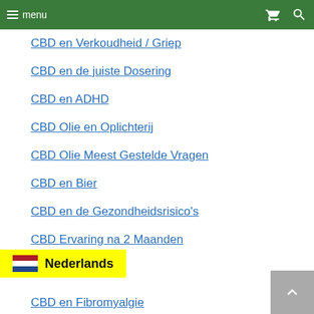menu
CBD en Verkoudheid / Griep
CBD en de juiste Dosering
CBD en ADHD
CBD Olie en Oplichterij
CBD Olie Meest Gestelde Vragen
CBD en Bier
CBD en de Gezondheidsrisico's
CBD Ervaring na 2 Maanden
CBD en Fibromyalgie